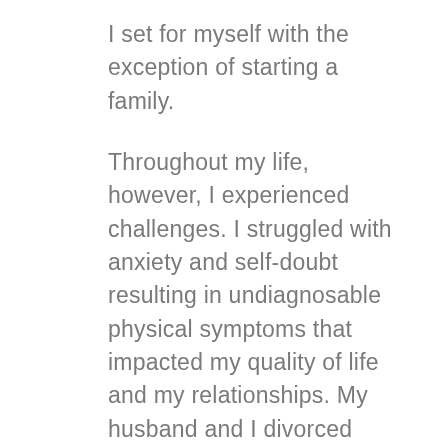I set for myself with the exception of starting a family.

Throughout my life, however, I experienced challenges. I struggled with anxiety and self-doubt resulting in undiagnosable physical symptoms that impacted my quality of life and my relationships. My husband and I divorced when I was 38 after four years of separation. I had a broken heart and what's worse was I didn't have a vision or plan for the rest of my life. I didn't even realize in my 30s that I needed/wanted a plan for the rest of my life. Prior to this, I relied on educational institutions to shape my goals. I realized